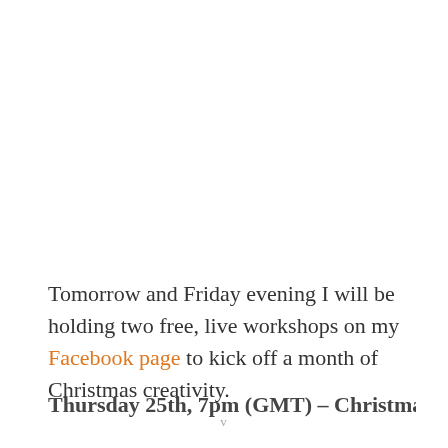Tomorrow and Friday evening I will be holding two free, live workshops on my Facebook page to kick off a month of Christmas creativity.
Thursday 25th, 7pm (GMT) – Christmas Wreath And